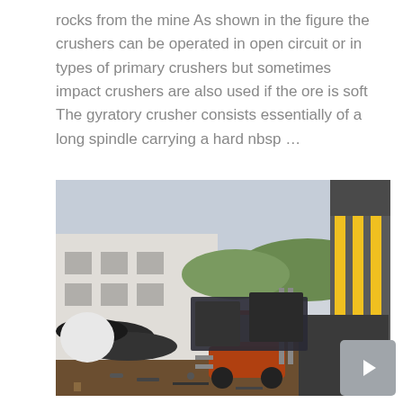rocks from the mine As shown in the figure the crushers can be operated in open circuit or in types of primary crushers but sometimes impact crushers are also used if the ore is soft The gyratory crusher consists essentially of a long spindle carrying a hard nbsp ...
[Figure (photo): Outdoor industrial/mining site showing a forklift, large machinery, pipes, and equipment. A tall yellow and grey crane-like structure is visible on the right. Industrial buildings are visible in the background.]